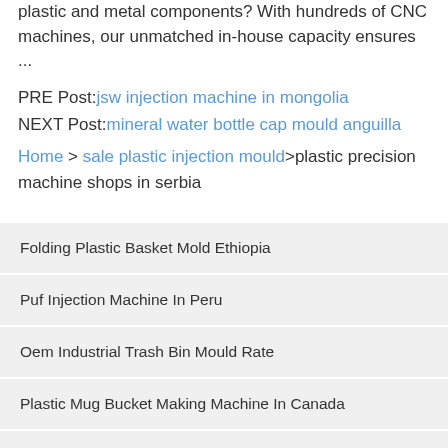plastic and metal components? With hundreds of CNC machines, our unmatched in-house capacity ensures ...
PRE Post: jsw injection machine in mongolia
NEXT Post: mineral water bottle cap mould anguilla
Home > sale plastic injection mould>plastic precision machine shops in serbia
Folding Plastic Basket Mold Ethiopia
Puf Injection Machine In Peru
Oem Industrial Trash Bin Mould Rate
Plastic Mug Bucket Making Machine In Canada
Hdpe Plastic Bucket Mold Canada